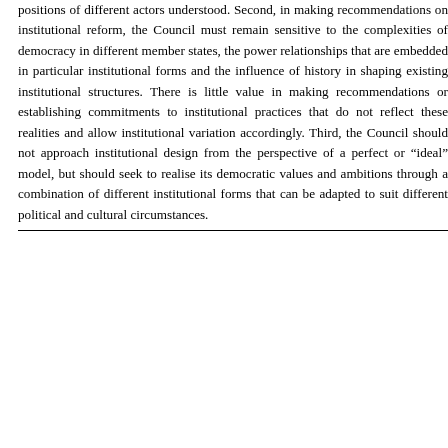positions of different actors understood. Second, in making recommendations on institutional reform, the Council must remain sensitive to the complexities of democracy in different member states, the power relationships that are embedded in particular institutional forms and the influence of history in shaping existing institutional structures. There is little value in making recommendations or establishing commitments to institutional practices that do not reflect these realities and allow institutional variation accordingly. Third, the Council should not approach institutional design from the perspective of a perfect or "ideal" model, but should seek to realise its democratic values and ambitions through a combination of different institutional forms that can be adapted to suit different political and cultural circumstances.